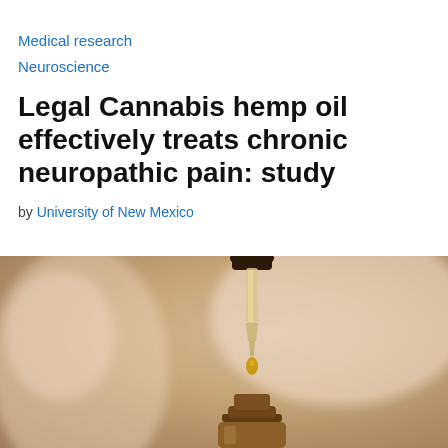Medical research
Neuroscience
Legal Cannabis hemp oil effectively treats chronic neuropathic pain: study
by University of New Mexico
[Figure (photo): Close-up photo of a glass dropper pipette with golden oil drop falling above a small amber glass bottle, with blurred person in background]